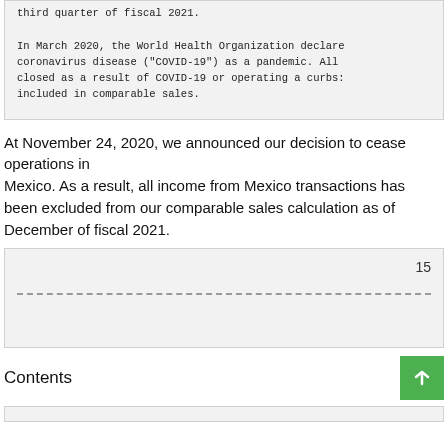third quarter of fiscal 2021.

In March 2020, the World Health Organization declare coronavirus disease ("COVID-19") as a pandemic. All closed as a result of COVID-19 or operating a curbs included in comparable sales.
At November 24, 2020, we announced our decision to cease operations in Mexico. As a result, all income from Mexico transactions has been excluded from our comparable sales calculation as of December of fiscal 2021.
15
Contents